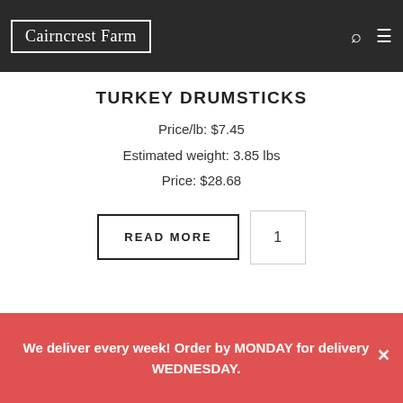[Figure (logo): Cairncrest Farm logo — white serif text in a white double-border rectangle on dark background]
TURKEY DRUMSTICKS
Price/lb: $7.45
Estimated weight: 3.85 lbs
Price: $28.68
READ MORE  1
We deliver every week! Order by MONDAY for delivery WEDNESDAY.